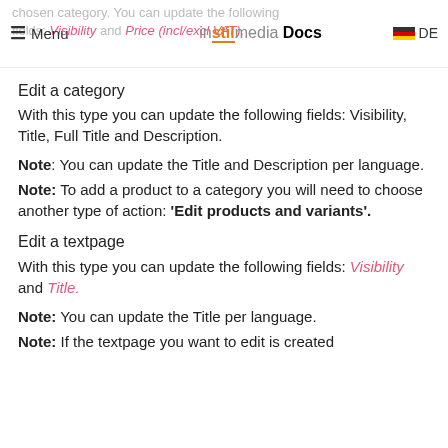chosen category. You can update the following fields: Visibility and Price (incl/excl VAT). Menu instilmedia Docs DE
Edit a category
With this type you can update the following fields: Visibility, Title, Full Title and Description.
Note: You can update the Title and Description per language.
Note: To add a product to a category you will need to choose another type of action: ‘Edit products and variants’.
Edit a textpage
With this type you can update the following fields: Visibility and Title.
Note: You can update the Title per language.
Note: If the textpage you want to edit is created